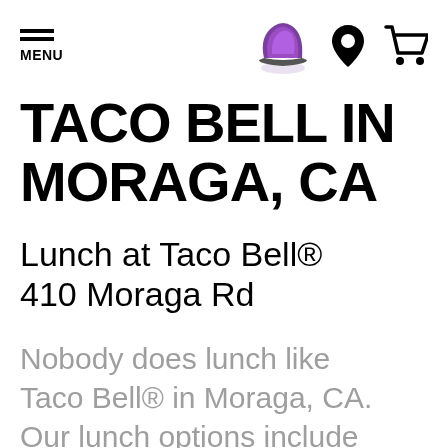MENU | Taco Bell logo | Location icon | Cart icon
TACO BELL IN MORAGA, CA
Lunch at Taco Bell® 410 Moraga Rd
Nobody does lunch like Taco Bell® in Moraga, CA. Our lunch options include